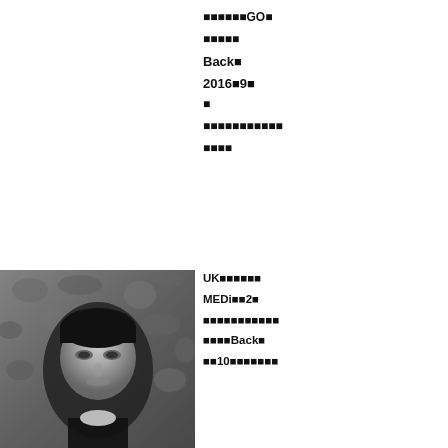■■■■■■GO■
■■■■■
Back■
2016■9■
■
■■■■■■■■■■■
■■■■
[Figure (photo): Black and white portrait photograph of a young man with short hair against a stone/gravel wall background]
UK■■■■■■
MEDi■■2■
■■■■■■■■■■■
■■■■■Back■
■■10■■■■■■■